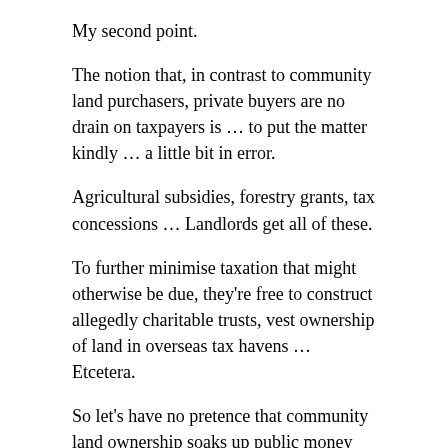My second point.
The notion that, in contrast to community land purchasers, private buyers are no drain on taxpayers is … to put the matter kindly … a little bit in error.
Agricultural subsidies, forestry grants, tax concessions … Landlords get all of these.
To further minimise taxation that might otherwise be due, they're free to construct allegedly charitable trusts, vest ownership of land in overseas tax havens … Etcetera.
So let's have no pretence that community land ownership soaks up public money while private landlords come at zero cost to taxpayers.
11
Which is not to say that putting land into community